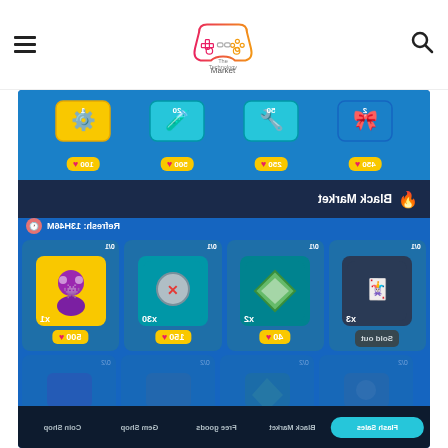The Technology Market - navigation header with hamburger menu, logo, and search icon
[Figure (screenshot): Mobile game screenshot showing The Technology Market website displaying a Brawl Stars (or similar game) Black Market shop screen. The image is mirrored/flipped horizontally. Shows top row of items with prices (100, 500, 250, 450 gems/hearts), a Black Market banner with fire icon, a refresh timer showing 13H46M, four market item slots (1x character for 500, 30x screws for 150, 2x green diamond for 40, sold out slot), faded second row of items, and bottom navigation tabs: Flash Sales (active/highlighted in cyan), Black Market, Free goods, Gem Shop, Coin Shop.]